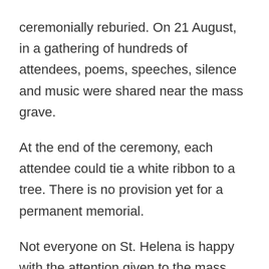ceremonially reburied. On 21 August, in a gathering of hundreds of attendees, poems, speeches, silence and music were shared near the mass grave.
At the end of the ceremony, each attendee could tie a white ribbon to a tree. There is no provision yet for a permanent memorial.
Not everyone on St. Helena is happy with the attention given to the mass reburial. Annina van Neel encountered a lot of opposition over the years. The documentary “A Story of Bones” (https://tribecafilm.com/films/story-of-bones-2022), which premiered at the Tribeca Film Festival in New York in June this year, tells her story. A story linked to the